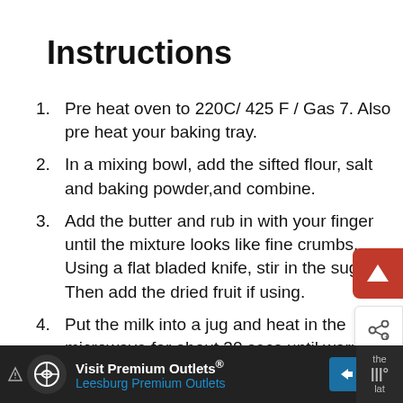Instructions
Pre heat oven to 220C/ 425 F / Gas 7. Also pre heat your baking tray.
In a mixing bowl, add the sifted flour, salt and baking powder,and combine.
Add the butter and rub in with your fingers until the mixture looks like fine crumbs. Using a flat bladed knife, stir in the sugar. Then add the dried fruit if using.
Put the milk into a jug and heat in the microwave for about 30 secs until warm but not hot. Add the vanilla and lemon juice, then set aside for 2 minutes.
Visit Premium Outlets® Leesburg Premium Outlets